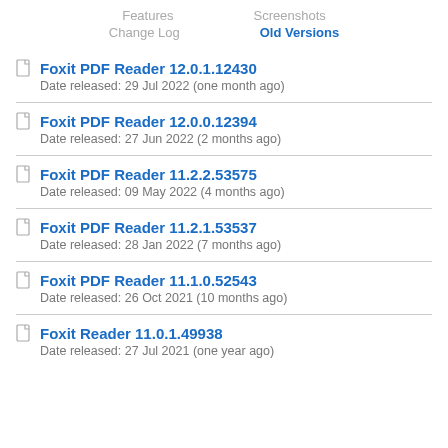Features   Screenshots
Change Log   Old Versions
Foxit PDF Reader 12.0.1.12430
Date released: 29 Jul 2022 (one month ago)
Foxit PDF Reader 12.0.0.12394
Date released: 27 Jun 2022 (2 months ago)
Foxit PDF Reader 11.2.2.53575
Date released: 09 May 2022 (4 months ago)
Foxit PDF Reader 11.2.1.53537
Date released: 28 Jan 2022 (7 months ago)
Foxit PDF Reader 11.1.0.52543
Date released: 26 Oct 2021 (10 months ago)
Foxit Reader 11.0.1.49938
Date released: 27 Jul 2021 (one year ago)